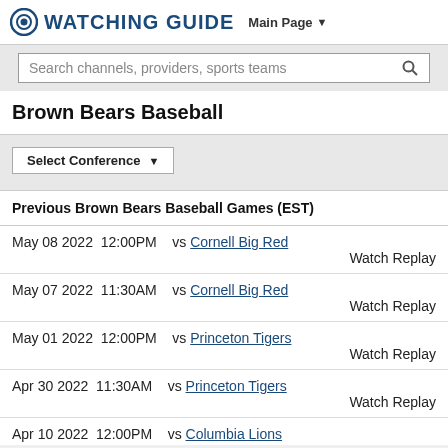Watching Guide   Main Page
Search channels, providers, sports teams
Brown Bears Baseball
Select Conference
Previous Brown Bears Baseball Games (EST)
May 08 2022  12:00PM   vs Cornell Big Red   Watch Replay
May 07 2022  11:30AM   vs Cornell Big Red   Watch Replay
May 01 2022  12:00PM   vs Princeton Tigers   Watch Replay
Apr 30 2022  11:30AM   vs Princeton Tigers   Watch Replay
Apr 10 2022  12:00PM   vs Columbia Lions